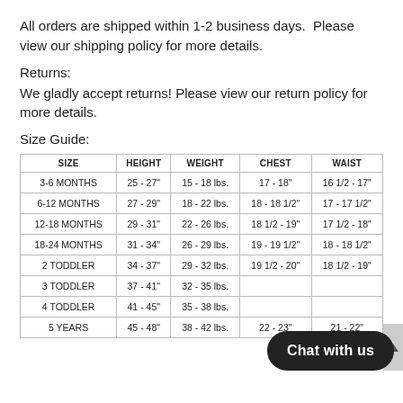All orders are shipped within 1-2 business days.  Please view our shipping policy for more details.
Returns:
We gladly accept returns! Please view our return policy for more details.
Size Guide:
| SIZE | HEIGHT | WEIGHT | CHEST | WAIST |
| --- | --- | --- | --- | --- |
| 3-6 MONTHS | 25 - 27" | 15 - 18 lbs. | 17 - 18" | 16 1/2 - 17" |
| 6-12 MONTHS | 27 - 29" | 18 - 22 lbs. | 18 - 18 1/2" | 17 - 17 1/2" |
| 12-18 MONTHS | 29 - 31" | 22 - 26 lbs. | 18 1/2 - 19" | 17 1/2 - 18" |
| 18-24 MONTHS | 31 - 34" | 26 - 29 lbs. | 19 - 19 1/2" | 18 - 18 1/2" |
| 2 TODDLER | 34 - 37" | 29 - 32 lbs. | 19 1/2 - 20" | 18 1/2 - 19" |
| 3 TODDLER | 37 - 41" | 32 - 35 lbs. |  |  |
| 4 TODDLER | 41 - 45" | 35 - 38 lbs. |  |  |
| 5 YEARS | 45 - 48" | 38 - 42 lbs. | 22 - 23" | 21 - 22" |